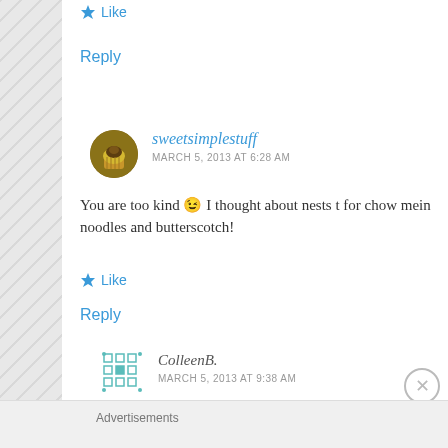★ Like
Reply
[Figure (photo): Avatar image of sweetsimplestuff: cupcake icon, circular, brown/golden tones]
sweetsimplestuff
MARCH 5, 2013 AT 6:28 AM
You are too kind 😉 I thought about nests for chow mein noodles and butterscotch!
★ Like
Reply
[Figure (illustration): Avatar image of ColleenB: green pixel/grid style icon]
ColleenB.
MARCH 5, 2013 AT 9:38 AM
Advertisements